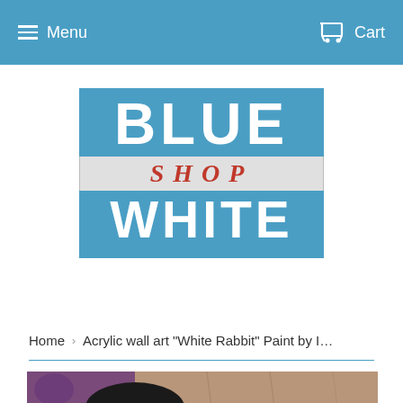Menu  Cart
[Figure (logo): Blue Shop White logo — 'BLUE' in large white bold text on blue background, 'SHOP' in red italic serif on light gray band, 'WHITE' in large white bold text on blue background]
Home  ›  Acrylic wall art "White Rabbit" Paint by I…
[Figure (photo): Partial view of acrylic wall art painting showing a figure with a black hat with gold rim against a textured background with purple and stone tones]